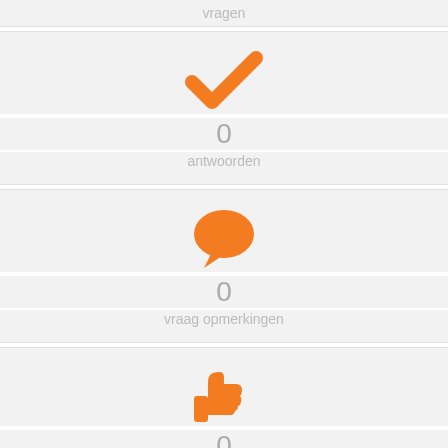vragen
[Figure (illustration): Orange checkmark icon]
0
antwoorden
[Figure (illustration): Orange speech bubble icon]
0
vraag opmerkingen
[Figure (illustration): Orange thumbs up icon]
0
leuk gevonden
[Figure (illustration): Orange thumbs down icon (partially visible)]